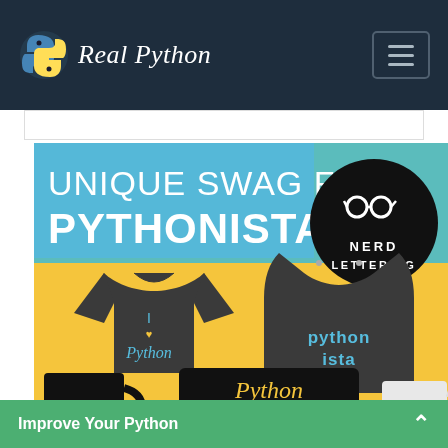Real Python
[Figure (photo): Banner advertisement for Real Python merchandise - dark t-shirt with 'I love Python' text, dark hoodie with 'Pythonista' text, mugs, on a blue/yellow/teal background with text 'UNIQUE SWAG FOR PYTHONISTAS' and 'NERD LETTERING' logo]
Improve Your Python